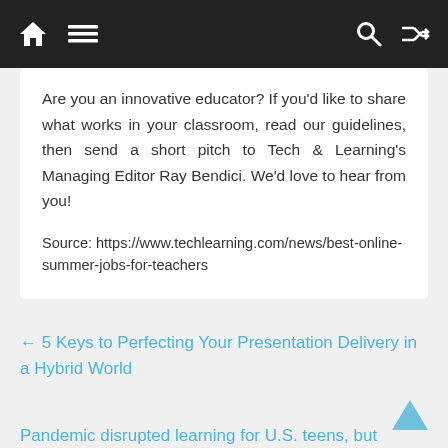Navigation bar with home, menu, search, and shuffle icons
Are you an innovative educator? If you'd like to share what works in your classroom, read our guidelines, then send a short pitch to Tech & Learning's Managing Editor Ray Bendici. We'd love to hear from you!
Source: https://www.techlearning.com/news/best-online-summer-jobs-for-teachers
← 5 Keys to Perfecting Your Presentation Delivery in a Hybrid World
Pandemic disrupted learning for U.S. teens, but